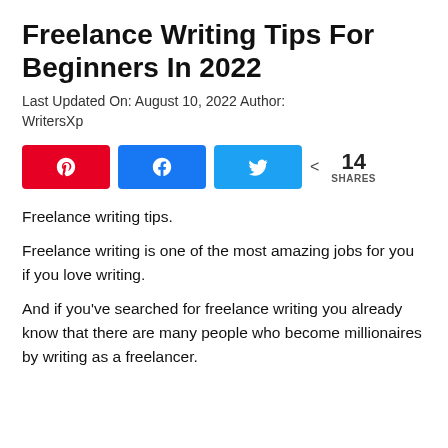Freelance Writing Tips For Beginners In 2022
Last Updated On: August 10, 2022 Author: WritersXp
[Figure (infographic): Social share buttons: Pinterest (red), Facebook (dark blue), Twitter (light blue), and share count showing 14 SHARES]
Freelance writing tips.
Freelance writing is one of the most amazing jobs for you if you love writing.
And if you’ve searched for freelance writing you already know that there are many people who become millionaires by writing as a freelancer.